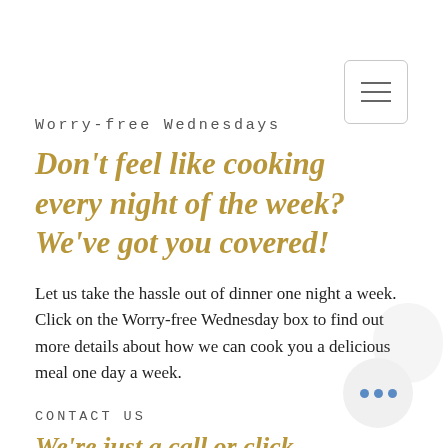[Figure (other): Hamburger menu button — three horizontal lines in a rounded rectangle border]
Worry-free Wednesdays
Don't feel like cooking every night of the week? We've got you covered!
Let us take the hassle out of dinner one night a week. Click on the Worry-free Wednesday box to find out more details about how we can cook you a delicious meal one day a week.
CONTACT US
We're just a call or click away!
Ready to get started planning for
[Figure (other): Three dots (ellipsis) button in a circular grey background]